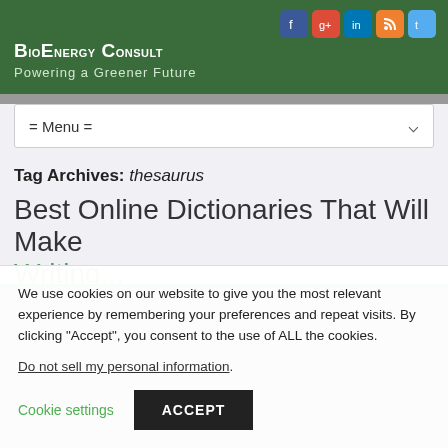BioEnergy Consult — Powering a Greener Future
= Menu =
Tag Archives: thesaurus
Best Online Dictionaries That Will Make Writing...
We use cookies on our website to give you the most relevant experience by remembering your preferences and repeat visits. By clicking "Accept", you consent to the use of ALL the cookies.
Do not sell my personal information.
Cookie settings   ACCEPT